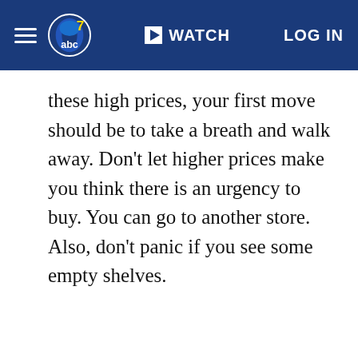ABC7 News — WATCH | LOG IN
these high prices, your first move should be to take a breath and walk away. Don't let higher prices make you think there is an urgency to buy. You can go to another store. Also, don't panic if you see some empty shelves.